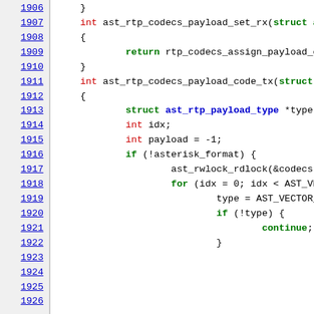[Figure (screenshot): Source code listing lines 1906-1926 showing C functions ast_rtp_codecs_payload_set_rx and ast_rtp_codecs_payload_code_tx with line numbers on the left in a monospace font with syntax highlighting.]